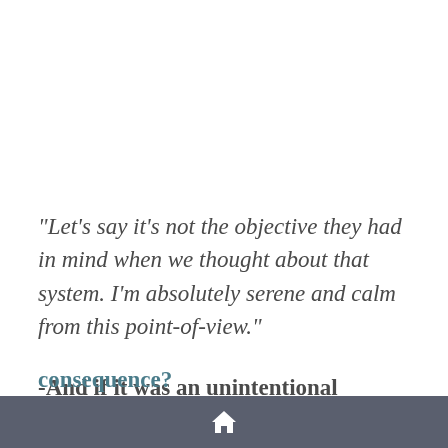"Let's say it's not the objective they had in mind when we thought about that system. I'm absolutely serene and calm from this point-of-view."
-And if it was an unintentional consequence?
home icon